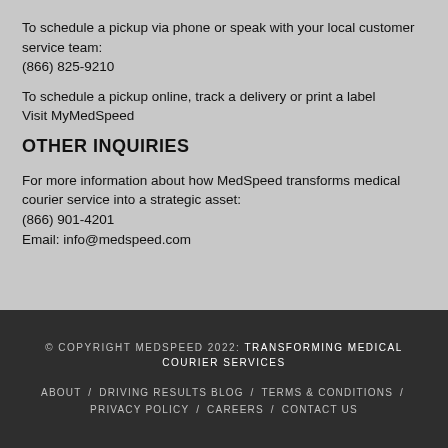To schedule a pickup via phone or speak with your local customer service team:
(866) 825-9210
To schedule a pickup online, track a delivery or print a label
Visit MyMedSpeed
OTHER INQUIRIES
For more information about how MedSpeed transforms medical courier service into a strategic asset:
(866) 901-4201
Email: info@medspeed.com
© COPYRIGHT MEDSPEED 2022: TRANSFORMING MEDICAL COURIER SERVICES
ABOUT / DRIVING RESULTS BLOG / TERMS & CONDITIONS / PRIVACY POLICY / CAREERS / CONTACT US